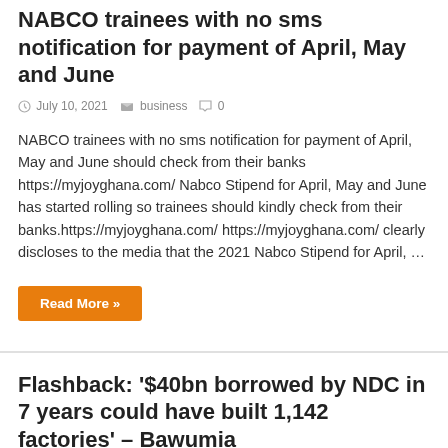NABCO trainees with no sms notification for payment of April, May and June
July 10, 2021   business   0
NABCO trainees with no sms notification for payment of April, May and June should check from their banks https://myjoyghana.com/ Nabco Stipend for April, May and June has started rolling so trainees should kindly check from their banks.https://myjoyghana.com/ https://myjoyghana.com/ clearly discloses to the media that the 2021 Nabco Stipend for April, …
Read More »
Flashback: '$40bn borrowed by NDC in 7 years could have built 1,142 factories' – Bawumia
July 1, 2021   POLITICS   0
[Figure (photo): Photo of a man (Bawumia) with glasses against a light blue/purple background]